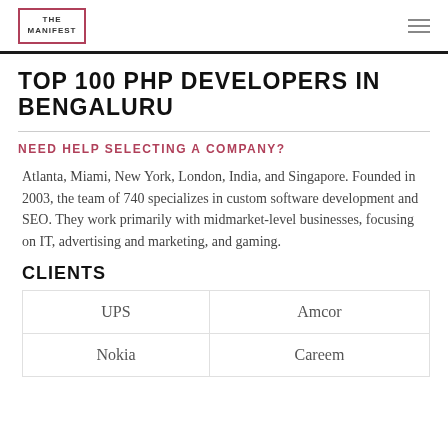THE MANIFEST
TOP 100 PHP DEVELOPERS IN BENGALURU
NEED HELP SELECTING A COMPANY?
Atlanta, Miami, New York, London, India, and Singapore. Founded in 2003, the team of 740 specializes in custom software development and SEO. They work primarily with midmarket-level businesses, focusing on IT, advertising and marketing, and gaming.
CLIENTS
| UPS | Amcor |
| Nokia | Careem |